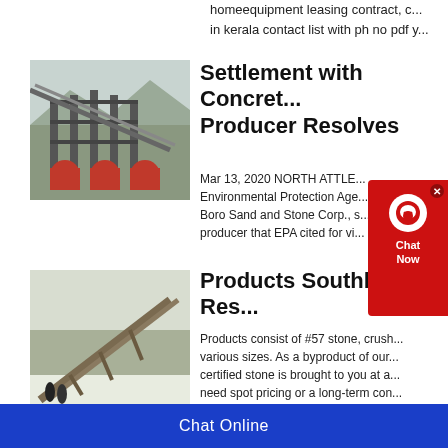homeequipment leasing contract, c... in kerala contact list with ph no pdf y...
[Figure (photo): Industrial concrete plant structure with conveyor belts and silos]
Settlement with Concrete Producer Resolves
Mar 13, 2020 NORTH ATTLE... Environmental Protection Age... E Boro Sand and Stone Corp., s... producer that EPA cited for vi... h
[Figure (photo): Quarry or mining site with large conveyor belt in winter/snowy conditions with workers]
Products Southland Res...
Products consist of #57 stone, crush... various sizes. As a byproduct of our... certified stone is brought to you at a... need spot pricing or a long-term con... Resources.
Chat Online